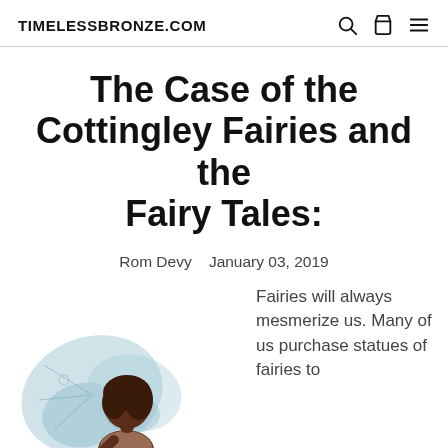TIMELESSBRONZE.COM
The Case of the Cottingley Fairies and the Fairy Tales:
Rom Devy   January 03, 2019
[Figure (photo): Bronze fairy statue with butterfly wings, depicted sitting and looking downward, shown from the waist up.]
Fairies will always mesmerize us. Many of us purchase statues of fairies to